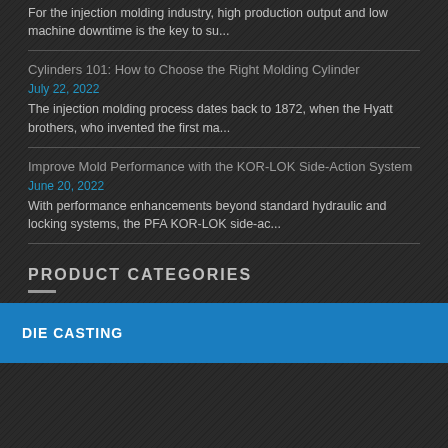For the injection molding industry, high production output and low machine downtime is the key to su...
Cylinders 101: How to Choose the Right Molding Cylinder
July 22, 2022
The injection molding process dates back to 1872, when the Hyatt brothers, who invented the first ma...
Improve Mold Performance with the KOR-LOK Side-Action System
June 20, 2022
With performance enhancements beyond standard hydraulic and locking systems, the PFA KOR-LOK side-ac...
PRODUCT CATEGORIES
DIE CASTING